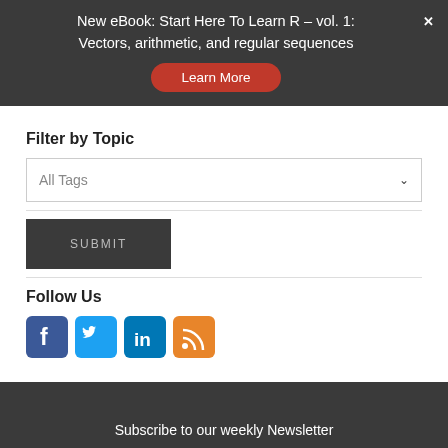New eBook: Start Here To Learn R – vol. 1: Vectors, arithmetic, and regular sequences
Learn More
Filter by Topic
All Tags
SUBMIT
Follow Us
[Figure (illustration): Social media icons: Facebook (blue), Twitter (blue), LinkedIn (blue), RSS (orange)]
Subscribe to our weekly Newsletter